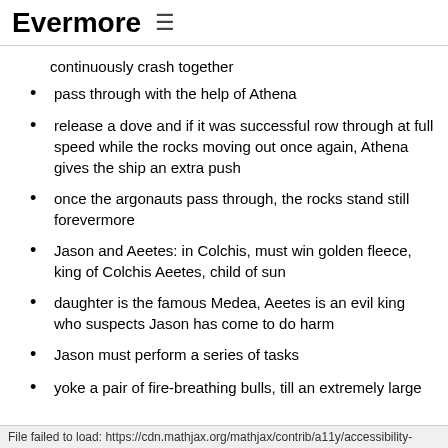Evermore ≡
continuously crash together
pass through with the help of Athena
release a dove and if it was successful row through at full speed while the rocks moving out once again, Athena gives the ship an extra push
once the argonauts pass through, the rocks stand still forevermore
Jason and Aeetes: in Colchis, must win golden fleece, king of Colchis Aeetes, child of sun
daughter is the famous Medea, Aeetes is an evil king who suspects Jason has come to do harm
Jason must perform a series of tasks
yoke a pair of fire-breathing bulls, till an extremely large
File failed to load: https://cdn.mathjax.org/mathjax/contrib/a11y/accessibility-